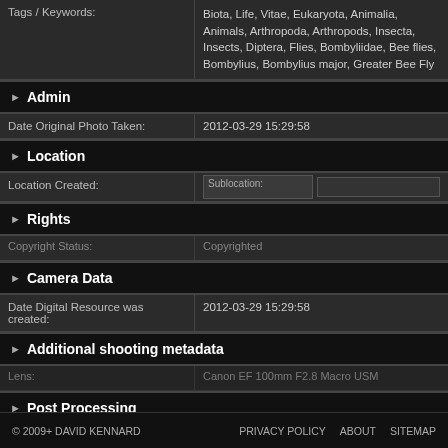| Field | Value |
| --- | --- |
| Tags / Keywords: | Biota, Life, Vitae, Eukaryota, Animalia, Animals, Arthropoda, Arthropods, Insecta, Insects, Diptera, Flies, Bombyliidae, Bee flies, Bombylius, Bombylius major, Greater Bee Fly |
► Admin
| Field | Value |
| --- | --- |
| Date Original Photo Taken: | 2012-03-29 15:29:58 |
► Location
| Field | Value |
| --- | --- |
| Location Created: | Sublocation: |
► Rights
| Field | Value |
| --- | --- |
| Copyright Status: | Copyrighted |
► Camera Data
| Field | Value |
| --- | --- |
| Date Digital Resource was created: | 2012-03-29 15:29:58 |
► Additional shooting metadata
| Field | Value |
| --- | --- |
| Lens: | Canon EF 100mm F2.8 Macro USM |
► Post Processing
| Field | Value |
| --- | --- |
| Last Modified: | 2012-03-29 11:30:07 |
© 2009+ DAVID KENNARD    PRIVACY POLICY    ABOUT    SITEMAP